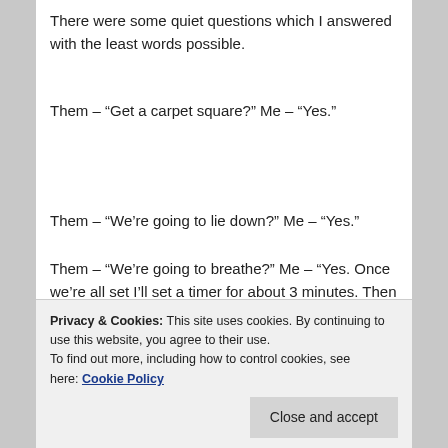There were some quiet questions which I answered with the least words possible.
Them – “Get a carpet square?” Me – “Yes.”
Them – “We’re going to lie down?” Me – “Yes.”
Them – “We’re going to breathe?” Me – “Yes. Once we’re all set I’ll set a timer for about 3 minutes. Then we’ll come together at the carpet.”
breathe, relax, and just be. Most of them did it easily.
Privacy & Cookies: This site uses cookies. By continuing to use this website, you agree to their use. To find out more, including how to control cookies, see here: Cookie Policy